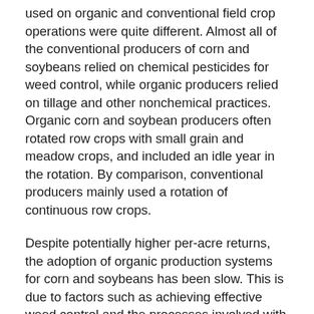used on organic and conventional field crop operations were quite different. Almost all of the conventional producers of corn and soybeans relied on chemical pesticides for weed control, while organic producers relied on tillage and other nonchemical practices. Organic corn and soybean producers often rotated row crops with small grain and meadow crops, and included an idle year in the rotation. By comparison, conventional producers mainly used a rotation of continuous row crops.
Despite potentially higher per-acre returns, the adoption of organic production systems for corn and soybeans has been slow. This is due to factors such as achieving effective weed control and the processes involved with organic transition and certification. Organic corn and soybean production was, on average, conducted on farms with less total acreage and less field crop acreage than conventional farms.